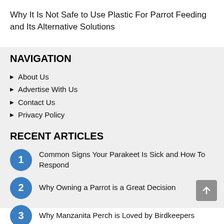Why It Is Not Safe to Use Plastic For Parrot Feeding and Its Alternative Solutions
NAVIGATION
About Us
Advertise With Us
Contact Us
Privacy Policy
RECENT ARTICLES
1 Common Signs Your Parakeet Is Sick and How To Respond
2 Why Owning a Parrot is a Great Decision
3 Why Manzanita Perch is Loved by Birdkeepers